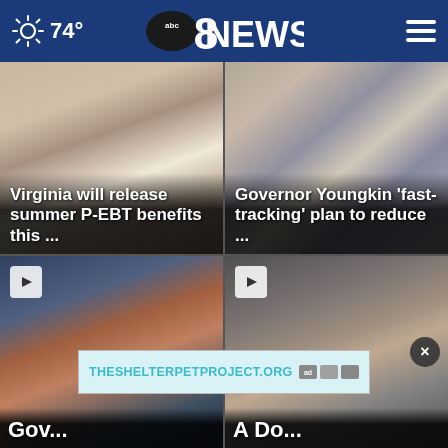74° abc 8NEWS
[Figure (photo): Photo of school lunch tray on cafeteria table]
Virginia will release summer P-EBT benefits this ...
[Figure (photo): Photo of students in classroom wearing masks]
Governor Youngkin ‘fast-tracking’ plan to reduce ...
[Figure (photo): Video thumbnail of Governor Youngkin]
Gov...
[Figure (photo): Video thumbnail with a person writing]
THESHELTERPETPROJECT.ORG